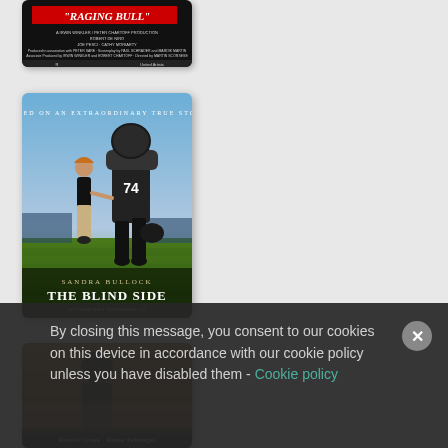[Figure (photo): Partial view of Raging Bull movie poster, black and white, showing title text and credits at bottom]
[Figure (photo): The Blind Side movie poster featuring Sandra Bullock and a football player wearing jersey number 74 walking on a field, text reads 'BASED ON AN EXTRAORDINARY TRUE STORY', 'SANDRA BULLOCK', 'THE BLIND SIDE']
[Figure (photo): Partial movie poster at bottom, appears to show Russell Crowe or similar actor, dark tones, text partially visible at bottom]
By closing this message, you consent to our cookies on this device in accordance with our cookie policy unless you have disabled them - Cookie policy